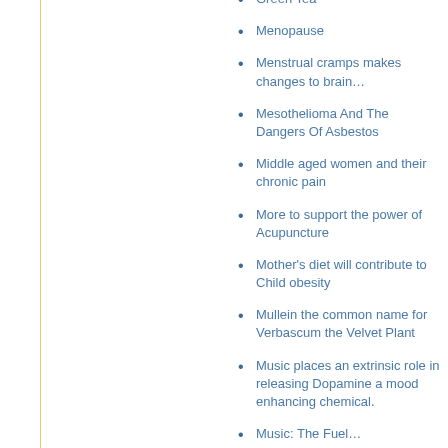Green Tea
Menopause
Menstrual cramps makes changes to brain…
Mesothelioma And The Dangers Of Asbestos
Middle aged women and their chronic pain
More to support the power of Acupuncture
Mother's diet will contribute to Child obesity
Mullein the common name for Verbascum the Velvet Plant
Music places an extrinsic role in releasing Dopamine a mood enhancing chemical.
Music: The Fuel…